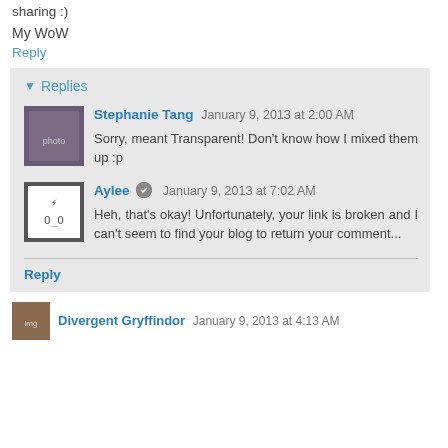sharing :)
My WoW
Reply
Replies
Stephanie Tang  January 9, 2013 at 2:00 AM
Sorry, meant Transparent! Don't know how I mixed them up :p
Aylee  January 9, 2013 at 7:02 AM
Heh, that's okay! Unfortunately, your link is broken and I can't seem to find your blog to return your comment...
Reply
Divergent Gryffindor  January 9, 2013 at 4:13 AM